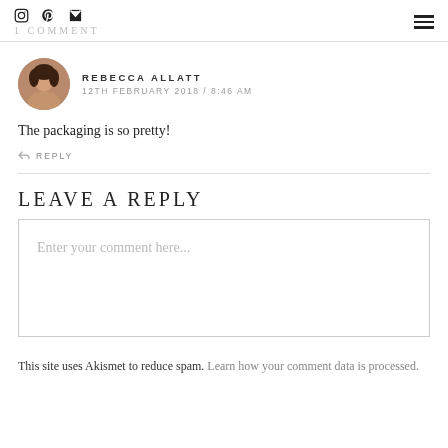1 COMMENT
[Figure (photo): Circular avatar photo of Rebecca Allatt]
REBECCA ALLATT
12TH FEBRUARY 2018 / 8:46 AM
The packaging is so pretty!
REPLY
LEAVE A REPLY
Enter your comment here...
This site uses Akismet to reduce spam. Learn how your comment data is processed.